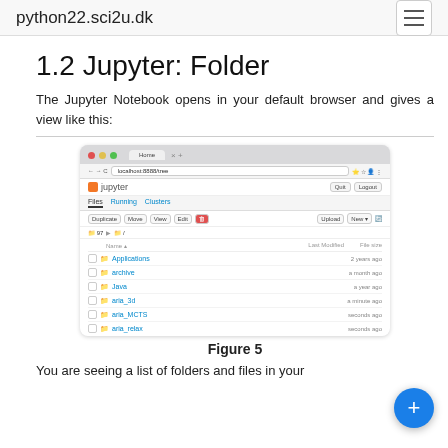python22.sci2u.dk
1.2 Jupyter: Folder
The Jupyter Notebook opens in your default browser and gives a view like this:
[Figure (screenshot): Screenshot of the Jupyter Notebook file browser interface showing folders: Applications (2 years ago), archive (a month ago), Java (a year ago), aria_3d (a minute ago), aria_MCTS (seconds ago), aria_relax (seconds ago)]
Figure 5
You are seeing a list of folders and files in your